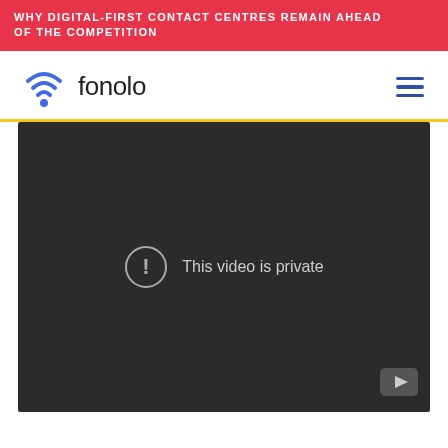WHY DIGITAL-FIRST CONTACT CENTRES REMAIN AHEAD OF THE COMPETITION
[Figure (logo): Fonolo logo with wifi/location pin icon and text 'fonolo', with hamburger menu icon on the right]
[Figure (screenshot): Embedded video player showing dark background with message 'This video is private' and a circle exclamation icon, YouTube icon in bottom right corner]